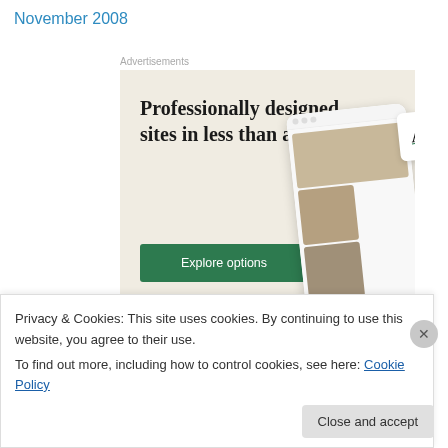November 2008
Advertisements
[Figure (illustration): WordPress advertisement showing 'Professionally designed sites in less than a week' with an 'Explore options' green button, WordPress logo, and phone/tablet mockup showing website layouts]
Privacy & Cookies: This site uses cookies. By continuing to use this website, you agree to their use.
To find out more, including how to control cookies, see here: Cookie Policy
Close and accept